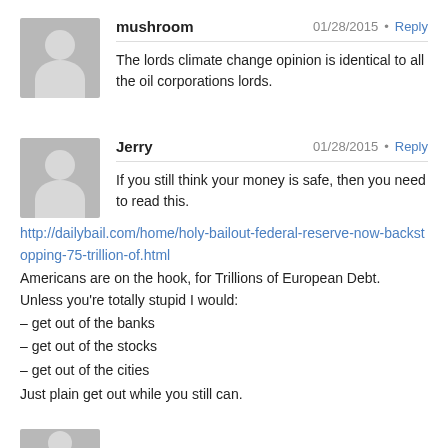[Figure (illustration): Gray avatar placeholder icon for user 'mushroom']
mushroom   01/28/2015 • Reply
The lords climate change opinion is identical to all the oil corporations lords.
[Figure (illustration): Gray avatar placeholder icon for user 'Jerry']
Jerry   01/28/2015 • Reply
If you still think your money is safe, then you need to read this.
http://dailybail.com/home/holy-bailout-federal-reserve-now-backstopping-75-trillion-of.html
Americans are on the hook, for Trillions of European Debt.
Unless you're totally stupid I would:
– get out of the banks
– get out of the stocks
– get out of the cities
Just plain get out while you still can.
[Figure (illustration): Gray avatar placeholder icon (partially visible) for third commenter]